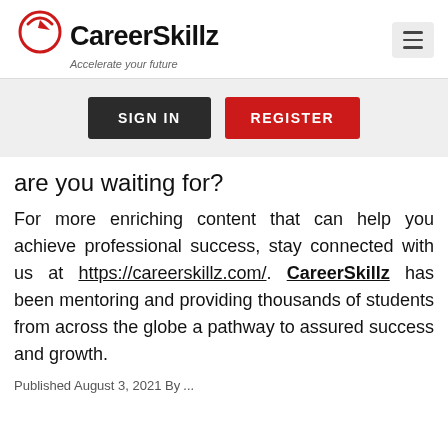[Figure (logo): CareerSkillz logo with red arrow icon and tagline 'Accelerate your future']
[Figure (other): Hamburger menu icon (three horizontal lines) in a light grey rounded box]
[Figure (other): Navigation bar with SIGN IN (dark/black button) and REGISTER (red button)]
are you waiting for?
For more enriching content that can help you achieve professional success, stay connected with us at https://careerskillz.com/. CareerSkillz has been mentoring and providing thousands of students from across the globe a pathway to assured success and growth.
Published August 3, 2021 By...